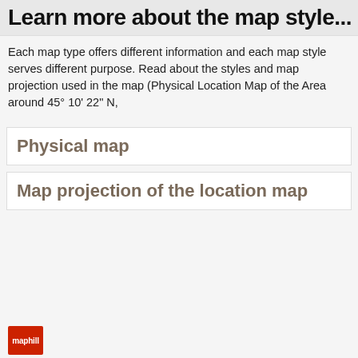Learn more about the map style...
Each map type offers different information and each map style serves different purpose. Read about the styles and map projection used in the map (Physical Location Map of the Area around 45° 10' 22" N,
Physical map
Map projection of the location map
[Figure (logo): Maphill red logo with white text 'maphill']